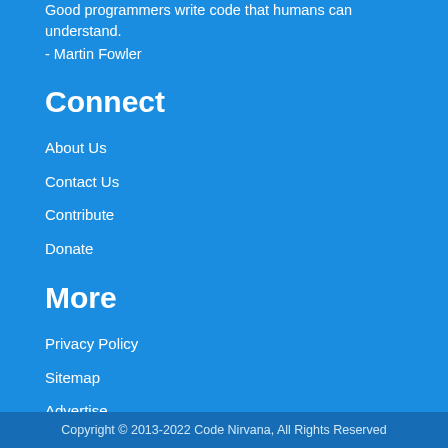Good programmers write code that humans can understand.
- Martin Fowler
Connect
About Us
Contact Us
Contribute
Donate
More
Privacy Policy
Sitemap
Advertise
RSS
Copyright © 2013-2022 Code Nirvana, All Rights Reserved